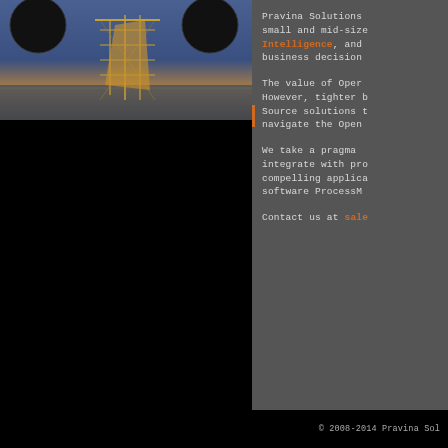[Figure (photo): Abstract sculpture with globe-like spheres and latticed structure against a blue sky and water background]
Pravina Solutions small and mid-size Intelligence, and business decision The value of Oper However, tighter b Source solutions t navigate the Open We take a pragma integrate with pro compelling applica software ProcessM Contact us at sale
© 2008-2014 Pravina Sol